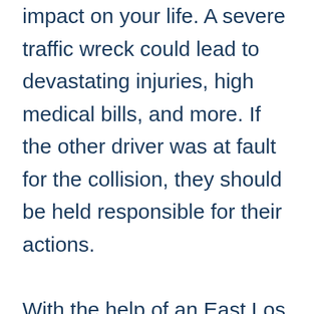impact on your life. A severe traffic wreck could lead to devastating injuries, high medical bills, and more. If the other driver was at fault for the collision, they should be held responsible for their actions.

With the help of an East Los Angeles car accident lawyer, you could file a legal claim against the negligent party and fight for financial compensation. A dedicated personal injury attorney could stand by your side throughout the legal process and give your